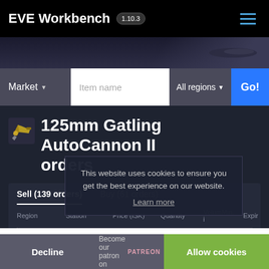EVE Workbench 1.10.3
125mm Gatling AutoCannon II orders
Sell (139 orders)   Buy (61 orders)
This website uses cookies to ensure you get the best experience on our website. Learn more
| Region | Station | Price (ISK) | Quantity | VolumMin. i | Expir |
| --- | --- | --- | --- | --- | --- |
Become our patron on PATREON
Decline
Allow cookies